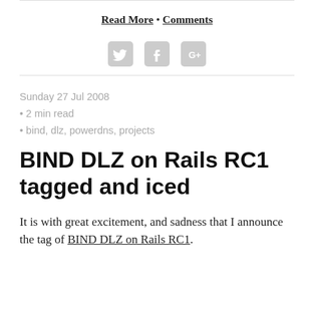Read More • Comments
[Figure (illustration): Social media icons: Twitter, Facebook, Google+]
Sunday 27 Jul 2008
• 2 min read
• bind, dlz, powerdns, projects
BIND DLZ on Rails RC1 tagged and iced
It is with great excitement, and sadness that I announce the tag of BIND DLZ on Rails RC1.